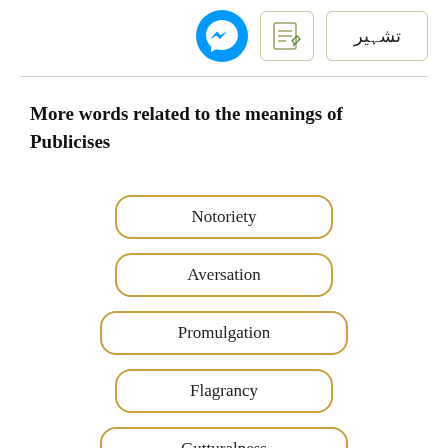[Figure (logo): Facebook Messenger blue lightning bolt icon]
[Figure (illustration): Edit/annotation icon in a rounded square box with olive/yellow border]
[Figure (illustration): Tashbeer Arabic text button with olive/yellow border]
More words related to the meanings of Publicises
Notoriety
Aversation
Promulgation
Flagrancy
Gutturalness
Propaganda